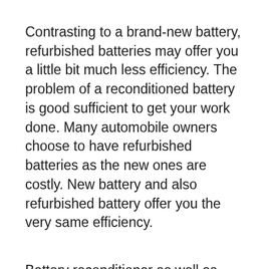Contrasting to a brand-new battery, refurbished batteries may offer you a little bit much less efficiency. The problem of a reconditioned battery is good sufficient to get your work done. Many automobile owners choose to have refurbished batteries as the new ones are costly. New battery and also refurbished battery offer you the very same efficiency.
Battery reconditioner as well as desulfator.
Expand the lifespan of your batteries: lead sulphate is eliminated by the electric high-frequency pulsation process of the battery reconditioner.